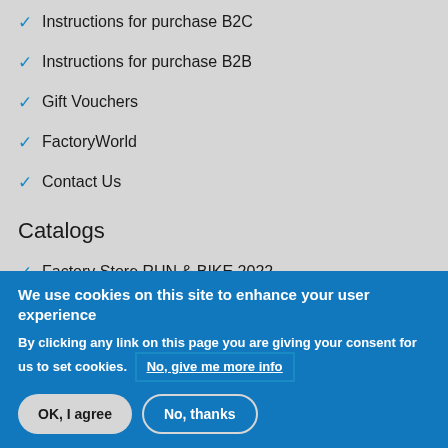Instructions for purchase B2C
Instructions for purchase B2B
Gift Vouchers
FactoryWorld
Contact Us
Catalogs
Factory Store RUN & BIKE 2022
Factory Store OUTDOOR 2022
We use cookies on this site to enhance your user experience
By clicking any link on this page you are giving your consent for us to set cookies. No, give me more info
OK, I agree
No, thanks